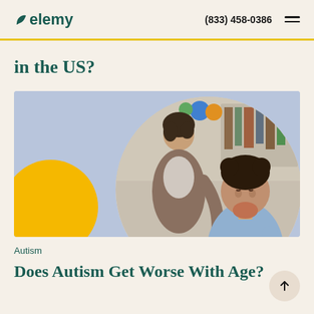elemy | (833) 458-0386
in the US?
[Figure (photo): Classroom scene with a teacher leaning over helping a student girl with curly hair buns who is writing at a desk. Blue/lavender background with yellow decorative circle on lower left. Image cropped in a circular frame.]
Autism
Does Autism Get Worse With Age?